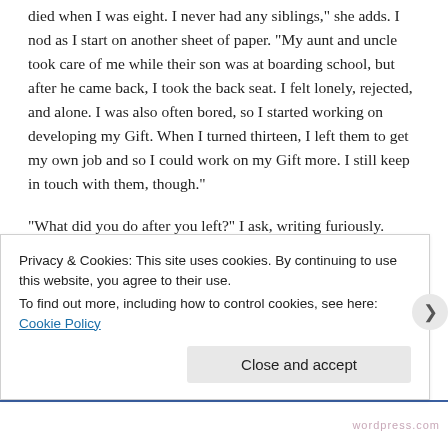died when I was eight. I never had any siblings,” she adds. I nod as I start on another sheet of paper. “My aunt and uncle took care of me while their son was at boarding school, but after he came back, I took the back seat. I felt lonely, rejected, and alone. I was also often bored, so I started working on developing my Gift. When I turned thirteen, I left them to get my own job and so I could work on my Gift more. I still keep in touch with them, though.”
“What did you do after you left?” I ask, writing furiously.
Haven smiles. “I found a job at a bakery in a small town. The owner let me have a room at his house to live in, staying with him and his wife, and I was allowed to keep any leftover baked goods that didn’t sell. I gave those to the poor people that I
Privacy & Cookies: This site uses cookies. By continuing to use this website, you agree to their use.
To find out more, including how to control cookies, see here: Cookie Policy
Close and accept